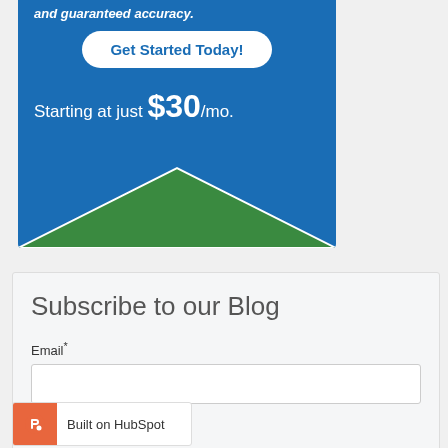[Figure (illustration): Blue advertisement banner with 'Get Started Today!' button, price 'Starting at just $30/mo.' text, and green triangle decoration at bottom]
Subscribe to our Blog
Email*
[Figure (logo): Built on HubSpot badge with orange HubSpot icon]